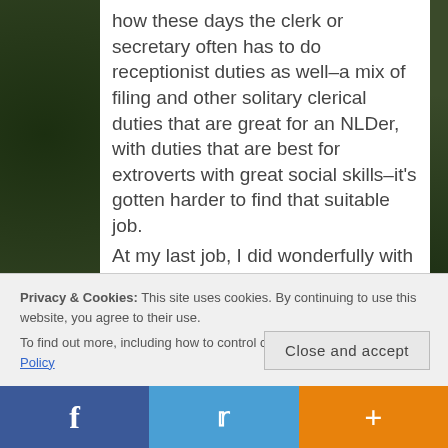how these days the clerk or secretary often has to do receptionist duties as well–a mix of filing and other solitary clerical duties that are great for an NLDer, with duties that are best for extroverts with great social skills–it's gotten harder to find that suitable job.

At my last job, I did wonderfully with the clerical tasks, but–though I did always try to be polite and kind with my boss' clients–dealing with clients was a severe weakness.  I had trouble with thinking on-the-spot of what to say or do, especially if they were upset
Privacy & Cookies: This site uses cookies. By continuing to use this website, you agree to their use.
To find out more, including how to control cookies, see here: Cookie Policy
Close and accept
f   Twitter   +